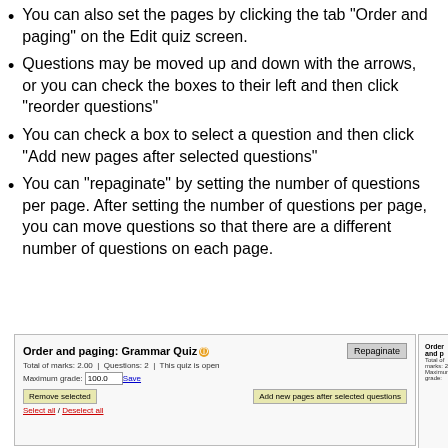You can also set the pages by clicking the tab "Order and paging" on the Edit quiz screen.
Questions may be moved up and down with the arrows, or you can check the boxes to their left and then click "reorder questions"
You can check a box to select a question and then click "Add new pages after selected questions"
You can "repaginate" by setting the number of questions per page. After setting the number of questions per page, you can move questions so that there are a different number of questions on each page.
[Figure (screenshot): Screenshot of 'Order and paging: Grammar Quiz' interface showing Repaginate button, total marks, questions count, maximum grade field, Remove selected button, Add new pages after selected questions button, and Select all / Deselect all links.]